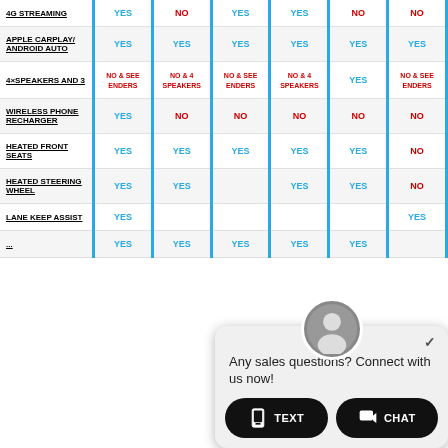| Feature | Col1 | Col2 | Col3 | Col4 | Col5 | Col6 |
| --- | --- | --- | --- | --- | --- | --- |
| 4G STREAMING | YES | NO | YES | YES | NO | NO |
| APPLE CARPLAY/ANDROID AUTO | YES | YES | YES | YES | YES | YES |
| 4X SPEAKERS AND 3 | NO & SEE ENDERS | NO & 4 SPEAKERS | NO & SEE ENDERS | NO & 4 SPEAKERS | YES | NO & SEE ENDERS |
| WIRELESS PHONE RECHARGER | YES | NO | NO | NO | NO | NO |
| HEATED FRONT SEATS | YES | YES | YES | YES | YES | NO |
| HEATED STEERING WHEEL | ... | ... | ... | ... | ... | NO |
| LANE KEEP ASSIST | ... | ... | ... | ... | ... | YES |
| ... | ... | ... | ... | ... | ... | ... |
[Figure (other): Chat popup overlay with agent avatar, message 'Any sales questions? Connect with us now!', and two buttons: TEXT and CHAT]